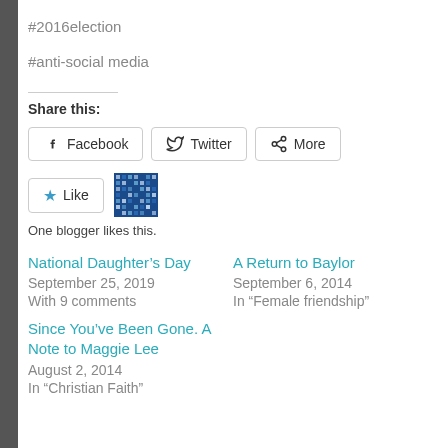#2016election
#anti-social media
Share this:
Facebook  Twitter  More
Like  One blogger likes this.
National Daughter's Day
September 25, 2019
With 9 comments
A Return to Baylor
September 6, 2014
In "Female friendship"
Since You've Been Gone. A Note to Maggie Lee
August 2, 2014
In "Christian Faith"